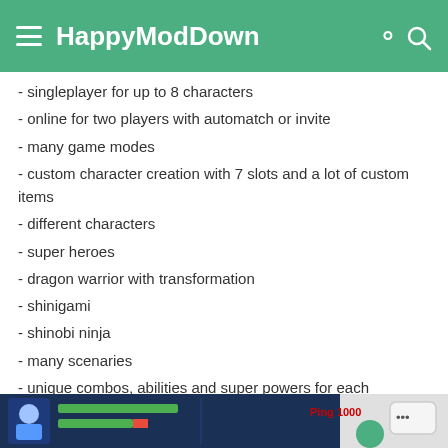HappyModDown
- singleplayer for up to 8 characters
- online for two players with automatch or invite
- many game modes
- custom character creation with 7 slots and a lot of custom items
- different characters
- super heroes
- dragon warrior with transformation
- shinigami
- shinobi ninja
- many scenaries
- unique combos, abilities and super powers for each character
New updates coming regulary, enjoy!
[Figure (screenshot): Game screenshot showing character avatar, health bars, ping indicator showing 1000, and chat bubble icon]